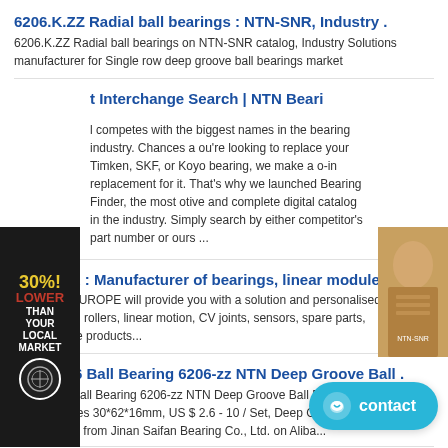6206.K.ZZ Radial ball bearings : NTN-SNR, Industry .
6206.K.ZZ Radial ball bearings on NTN-SNR catalog, Industry Solutions manufacturer for Single row deep groove ball bearings market
t Interchange Search | NTN Beari
l competes with the biggest names in the bearing industry. Chances a ou're looking to replace your Timken, SKF, or Koyo bearing, we make a o-in replacement for it. That's why we launched Bearing Finder, the most otive and complete digital catalog in the industry. Simply search by either competitor's part number or ours ...
NTN SNR : Manufacturer of bearings, linear modules .
NTN SNR EUROPE will provide you with a solution and personalised support for bearings, rollers, linear motion, CV joints, sensors, spare parts, maintenance products...
NTN 6206 Ball Bearing 6206-zz NTN Deep Groove Ball .
NTN 6206 Ball Bearing 6206-zz NTN Deep Groove Ball Bearings NTN Bearing 6206 c3 Sizes 30*62*16mm, US $ 2.6 - 10 / Set, Deep Groove, Ball, NTN.Source from Jinan Saifan Bearing Co., Ltd. on Aliba...
NTN Bearing Finder: Online Catalog and Interchan...